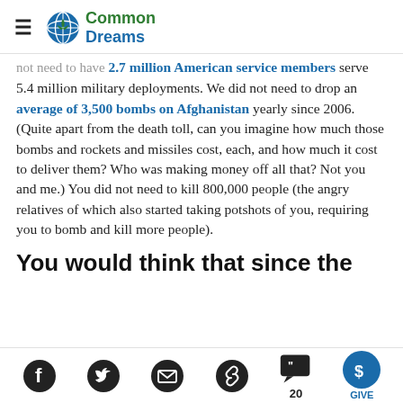Common Dreams
not need to have 2.7 million American service members serve 5.4 million military deployments. We did not need to drop an average of 3,500 bombs on Afghanistan yearly since 2006. (Quite apart from the death toll, can you imagine how much those bombs and rockets and missiles cost, each, and how much it cost to deliver them? Who was making money off all that? Not you and me.) You did not need to kill 800,000 people (the angry relatives of which also started taking potshots of you, requiring you to bomb and kill more people).
You would think that since the
Social share icons: Facebook, Twitter, Email, Link, Comments (20), Give